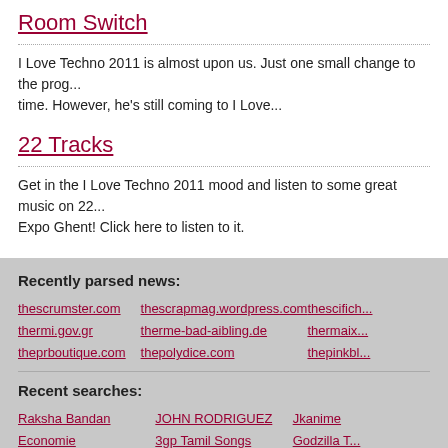Room Switch
I Love Techno 2011 is almost upon us. Just one small change to the progr... time. However, he's still coming to I Love...
22 Tracks
Get in the I Love Techno 2011 mood and listen to some great music on 22... Expo Ghent! Click here to listen to it.
Recently parsed news:
thescrumster.com
thescrapmag.wordpress.com
thescifich...
thermi.gov.gr
therme-bad-aibling.de
thermaix...
theprboutique.com
thepolydice.com
thepinkbl...
Recent searches:
Raksha Bandan
JOHN RODRIGUEZ
Jkanime
Economie
3gp Tamil Songs
Godzilla T...